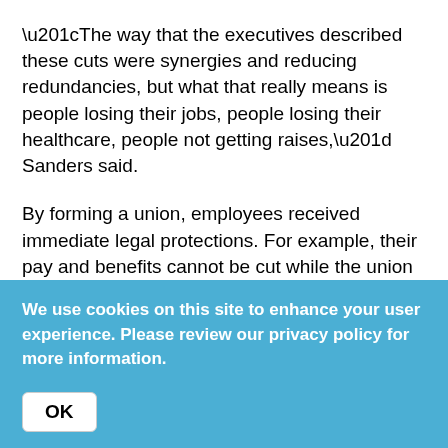“The way that the executives described these cuts were synergies and reducing redundancies, but what that really means is people losing their jobs, people losing their healthcare, people not getting raises,” Sanders said.
By forming a union, employees received immediate legal protections. For example, their pay and benefits cannot be cut while the union and company negotiate a contract. But 20 months later, there’s no agreement.
“The money is there, papers are profitable,” Sanders said “It’s a question of where those profits go. Do they line the executives’ pockets or do they invest in newsrooms and
We use cookies on this site to enhance your user experience. Please review our privacy policy for more information.